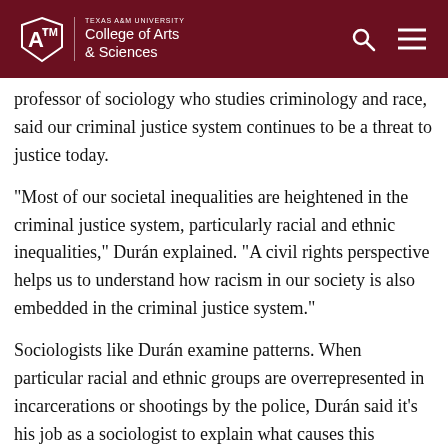Texas A&M University College of Arts & Sciences
professor of sociology who studies criminology and race, said our criminal justice system continues to be a threat to justice today.
“Most of our societal inequalities are heightened in the criminal justice system, particularly racial and ethnic inequalities,” Durán explained. “A civil rights perspective helps us to understand how racism in our society is also embedded in the criminal justice system.”
Sociologists like Durán examine patterns. When particular racial and ethnic groups are overrepresented in incarcerations or shootings by the police, Durán said it’s his job as a sociologist to explain what causes this